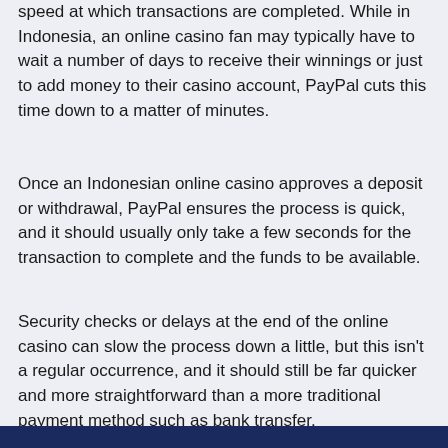speed at which transactions are completed. While in Indonesia, an online casino fan may typically have to wait a number of days to receive their winnings or just to add money to their casino account, PayPal cuts this time down to a matter of minutes.
Once an Indonesian online casino approves a deposit or withdrawal, PayPal ensures the process is quick, and it should usually only take a few seconds for the transaction to complete and the funds to be available.
Security checks or delays at the end of the online casino can slow the process down a little, but this isn't a regular occurrence, and it should still be far quicker and more straightforward than a more traditional payment method such as bank transfer.